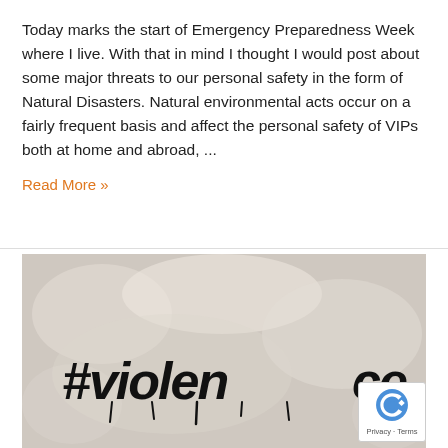Today marks the start of Emergency Preparedness Week where I live. With that in mind I thought I would post about some major threats to our personal safety in the form of Natural Disasters. Natural environmental acts occur on a fairly frequent basis and affect the personal safety of VIPs both at home and abroad, ...
Read More »
[Figure (photo): Photo of a white textured wall with black graffiti text reading '#violence' (partially visible). A reCAPTCHA badge is overlaid in the bottom right corner showing the reCAPTCHA logo and 'Privacy - Terms' text.]